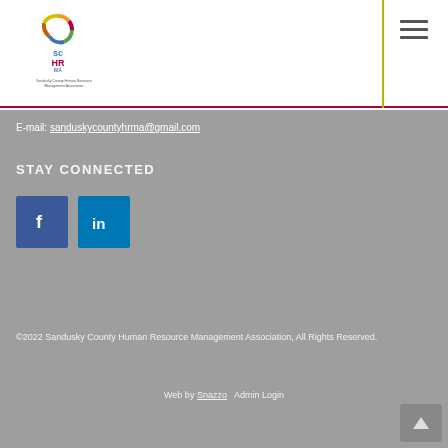[Figure (logo): ScHRMA - Sandusky County Human Resource Management Association logo with colorful circular icon]
ScHRMA navigation header with logo and hamburger menu
E-mail: sanduskycountyhrma@gmail.com
STAY CONNECTED
[Figure (illustration): Facebook and LinkedIn social media icon buttons]
©2022 Sandusky County Human Resource Management Association, All Rights Reserved.
Web by Snazzo   Admin Login